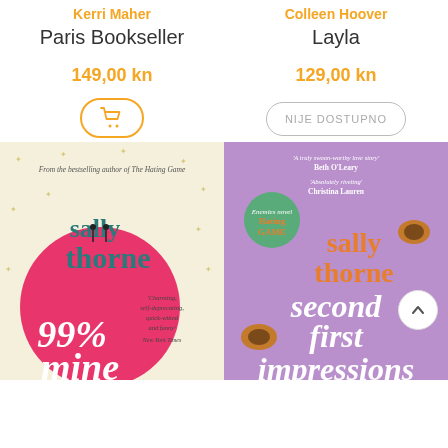Kerri Maher
Paris Bookseller
149,00 kn
[Figure (illustration): Orange circle cart/add-to-cart button with shopping cart icon]
Colleen Hoover
Layla
129,00 kn
NIJE DOSTUPNO
[Figure (photo): Book cover: Sally Thorne '99% Mine' - cream background with pink circle, two figures on top, quote from New York Times]
[Figure (photo): Book cover: Sally Thorne 'Second First Impressions' - purple background with turtles, quotes from Beth O'Leary and Christina Lauren]